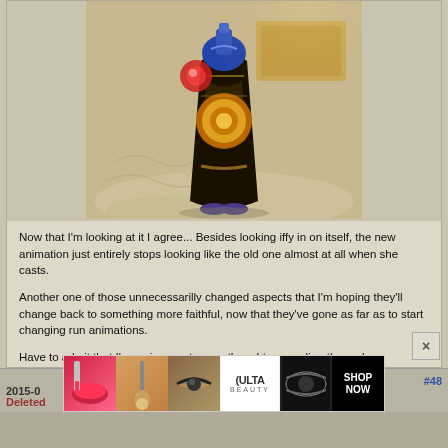[Figure (screenshot): Screenshot of a video game character wearing ornate dark robes with golden circular patterns, viewed from behind/side, standing on a decorative floor]
Now that I'm looking at it I agree... Besides looking iffy in on itself, the new animation just entirely stops looking like the old one almost at all when she casts.

Another one of those unnecessarilly changed aspects that I'm hoping they'll change back to something more faithful, now that they've gone as far as to start changing run animations.

Have to admit that I'm curious as to your thoughts regarding the male
[Figure (screenshot): ULTA beauty advertisement banner with makeup product images and 'SHOP NOW' text]
2015-0... #48
Deleted